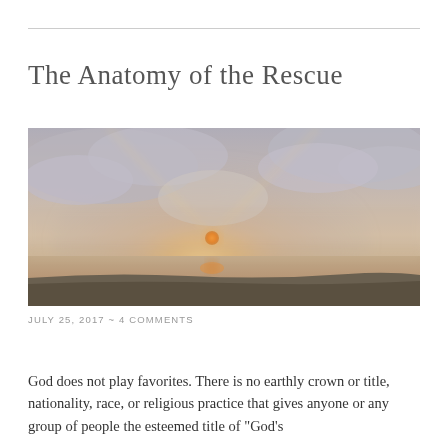The Anatomy of the Rescue
[Figure (photo): Misty sunrise or sunset over a calm ocean or beach landscape. The sun is low on the horizon, partially obscured by hazy clouds. Warm orange glow near the sun, surrounded by grey-purple atmospheric haze. Dark shoreline visible at the bottom.]
JULY 25, 2017  ~  4 COMMENTS
God does not play favorites. There is no earthly crown or title, nationality, race, or religious practice that gives anyone or any group of people the esteemed title of "God's